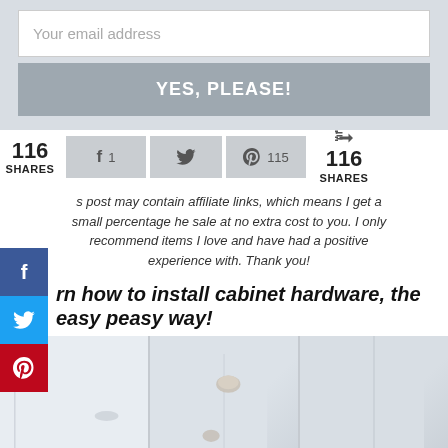[Figure (screenshot): Email signup form with input field labeled 'Your email address' and a gray button labeled 'YES, PLEASE!']
[Figure (infographic): Social share bar showing 116 SHARES, Facebook 1, Twitter, Pinterest 115, and 116 SHARES on right side]
[Figure (infographic): Social media sidebar with Facebook, Twitter, and Pinterest buttons]
s post may contain affiliate links, which means I get a small percentage he sale at no extra cost to you. I only recommend items I love and have had a positive experience with. Thank you!
rn how to install cabinet hardware, the easy peasy way!
[Figure (photo): Photo of white cabinet drawers with decorative hardware handles]